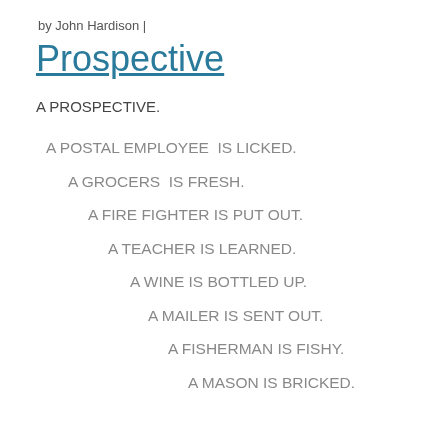by John Hardison |
Prospective
A PROSPECTIVE.
A POSTAL EMPLOYEE  IS LICKED.
A GROCERS  IS FRESH.
A FIRE FIGHTER IS PUT OUT.
A TEACHER IS LEARNED.
A WINE IS BOTTLED UP.
A MAILER IS SENT OUT.
A FISHERMAN IS FISHY.
A MASON IS BRICKED.